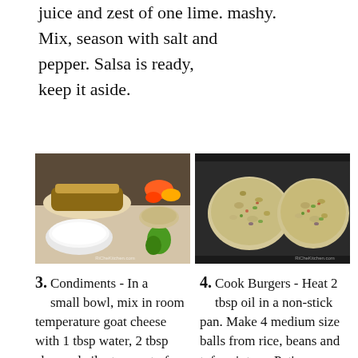juice and zest of one lime. mashy. Mix, season with salt and pepper. Salsa is ready, keep it aside.
[Figure (photo): Food preparation photo showing burgers with toppings on a table, alongside a bowl of white sauce/dip and colorful vegetables]
[Figure (photo): Two uncooked veggie burger patties on a dark non-stick skillet/pan]
3. Condiments - In a small bowl, mix in room temperature goat cheese with 1 tbsp water, 2 tbsp chopped cilantro, zest of one lime, 1/4 tsp red pepper powder. Beat well and keep aside. Also mix in 2 tbsp ranch spice mix
4. Cook Burgers - Heat 2 tbsp oil in a non-stick pan. Make 4 medium size balls from rice, beans and tofu mixture. Pat'em slightly and then place burger patties on hot skillet/pan. let'em sear undisturbed on 1 side for